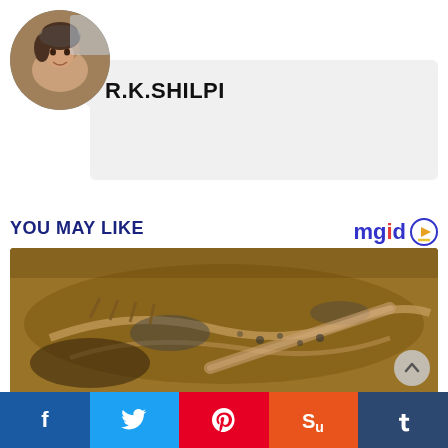[Figure (photo): Circular avatar/profile photo of a person]
R.K.SHILPI
YOU MAY LIKE
[Figure (logo): mgid logo with play button icon]
[Figure (photo): Fossil or archaeological excavation site showing bones/remains in sandy earth]
f  t  p  su  t (social share buttons: Facebook, Twitter, Pinterest, StumbleUpon, Tumblr)